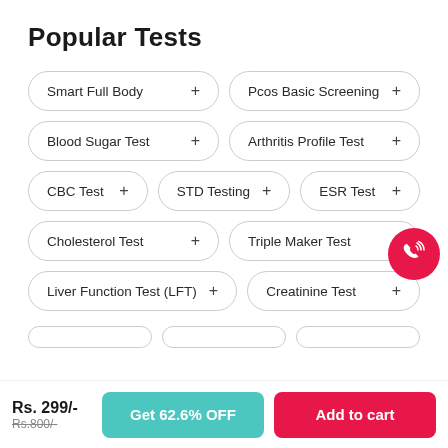Popular Tests
Smart Full Body +
Pcos Basic Screening +
Blood Sugar Test +
Arthritis Profile Test +
CBC Test +
STD Testing +
ESR Test +
Cholesterol Test +
Triple Maker Test +
Liver Function Test (LFT) +
Creatinine Test +
Rs. 299/-
Rs.800/-
Get 62.6% OFF
Add to cart